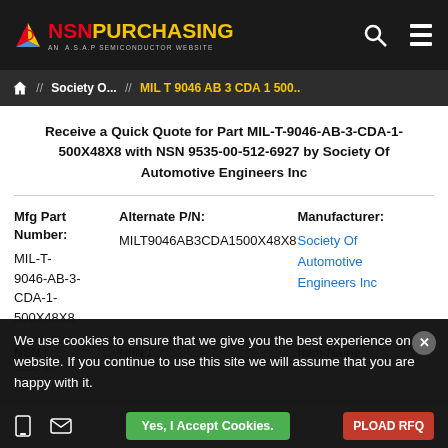NSN PURCHASING AN A.S.A.P SEMICONDUCTOR WEBSITE
Home // Society O... // MIL T 9046 AB 3 CDA 1 500..
Receive a Quick Quote for Part MIL-T-9046-AB-3-CDA-1-500X48X8 with NSN 9535-00-512-6927 by Society Of Automotive Engineers Inc
| Mfg Part Number: | Alternate P/N: | Manufacturer: |
| --- | --- | --- |
| MIL-T-9046-AB-3-CDA-1-500X48X8 | MILT9046AB3CDA1500X48X8 | Society Of Automotive Engineers Inc |
| NSN : | NIIN : | Item Name : |
| --- | --- | --- |
| 9535-00-... | 005126927 | Plate/Metal... |
We use cookies to ensure that we give you the best experience on our website. If you continue to use this site we will assume that you are happy with it.